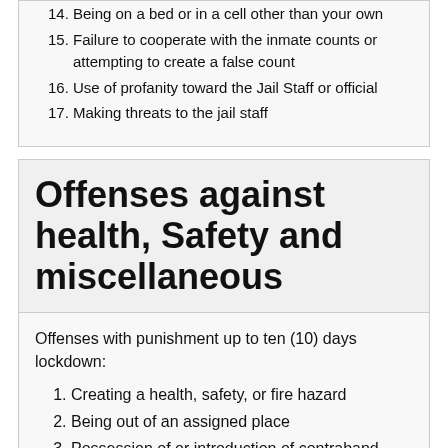14. Being on a bed or in a cell other than your own
15. Failure to cooperate with the inmate counts or attempting to create a false count
16. Use of profanity toward the Jail Staff or official
17. Making threats to the jail staff
Offenses against health, Safety and miscellaneous
Offenses with punishment up to ten (10) days lockdown:
1. Creating a health, safety, or fire hazard
2. Being out of an assigned place
3. Possession of or introduction of contraband
4. Possession of narcotics, drug paraphernalia or